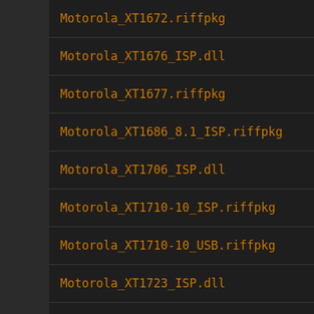Motorola_XT1672.riffpkg
Motorola_XT1676_ISP.dll
Motorola_XT1677.riffpkg
Motorola_XT1686_8.1_ISP.riffpkg
Motorola_XT1706_ISP.dll
Motorola_XT1710-10_ISP.riffpkg
Motorola_XT1710-10_USB.riffpkg
Motorola_XT1723_ISP.dll
Motorola_XT1726_USB.riffpkg
Motorola_XT1762_ISP.dll
Motorola_XT1763_ISP.riffpkg
Motorola_XT1763_USB.riffpkg
Motorola_XT1766_ISP.dll